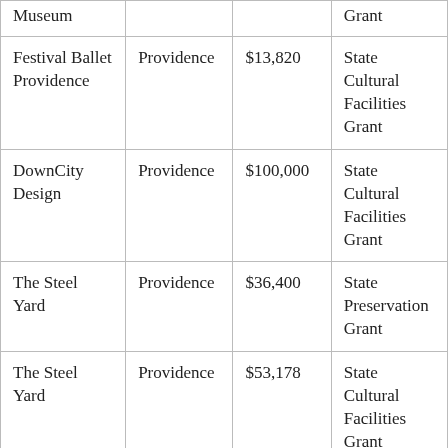| Museum |  |  | Grant |
| Festival Ballet Providence | Providence | $13,820 | State Cultural Facilities Grant |
| DownCity Design | Providence | $100,000 | State Cultural Facilities Grant |
| The Steel Yard | Providence | $36,400 | State Preservation Grant |
| The Steel Yard | Providence | $53,178 | State Cultural Facilities Grant |